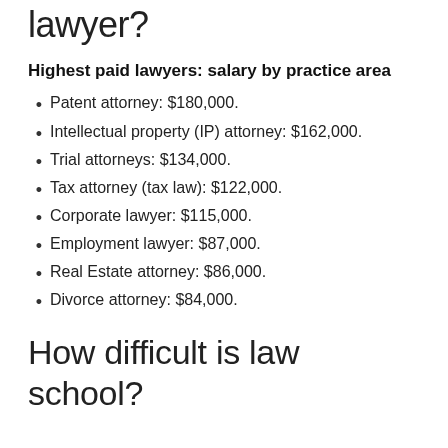What is the highest paid lawyer?
Highest paid lawyers: salary by practice area
Patent attorney: $180,000.
Intellectual property (IP) attorney: $162,000.
Trial attorneys: $134,000.
Tax attorney (tax law): $122,000.
Corporate lawyer: $115,000.
Employment lawyer: $87,000.
Real Estate attorney: $86,000.
Divorce attorney: $84,000.
How difficult is law school?